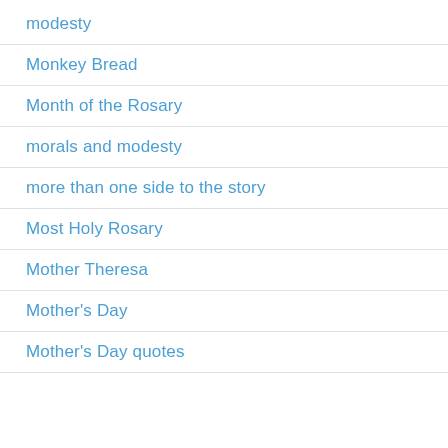modesty
Monkey Bread
Month of the Rosary
morals and modesty
more than one side to the story
Most Holy Rosary
Mother Theresa
Mother's Day
Mother's Day quotes